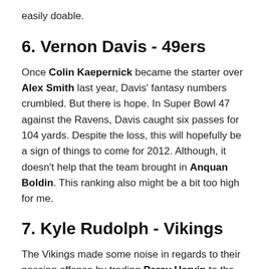easily doable.
6. Vernon Davis - 49ers
Once Colin Kaepernick became the starter over Alex Smith last year, Davis' fantasy numbers crumbled. But there is hope. In Super Bowl 47 against the Ravens, Davis caught six passes for 104 yards. Despite the loss, this will hopefully be a sign of things to come for 2012. Although, it doesn't help that the team brought in Anquan Boldin. This ranking also might be a bit too high for me.
7. Kyle Rudolph - Vikings
The Vikings made some noise in regards to their passing offense by trading Percy Harvin to the Seahawks, signing long-time Packers receiver Greg Jennings and also using a first-round pick on Cordarrelle Patterson. But none of